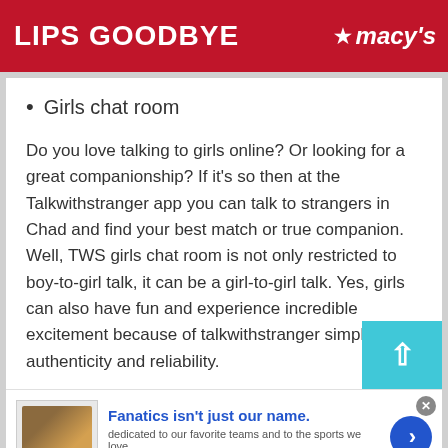[Figure (illustration): Macy's advertisement banner showing red lips/face image with 'LIPS GOODBYE' text and Macy's star logo on dark red background]
Girls chat room
Do you love talking to girls online? Or looking for a great companionship? If it's so then at the Talkwithstranger app you can talk to strangers in Chad and find your best match or true companion. Well, TWS girls chat room is not only restricted to boy-to-girl talk, it can be a girl-to-girl talk. Yes, girls can also have fun and experience incredible excitement because of talkwithstranger simplicity, authenticity and reliability.
[Figure (illustration): Fanatics advertisement banner with sports merchandise image, 'Fanatics isn't just our name.' headline, subtitle text, www.fanatics.com URL, and blue arrow button]